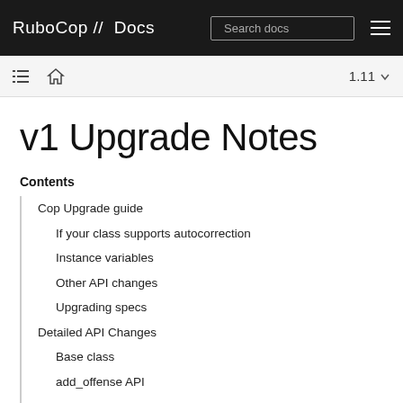RuboCop // Docs
v1 Upgrade Notes
Contents
Cop Upgrade guide
If your class supports autocorrection
Instance variables
Other API changes
Upgrading specs
Detailed API Changes
Base class
add_offense API
Auto Correction